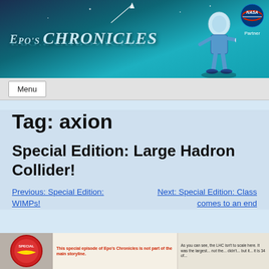[Figure (illustration): Epo's Chronicles website header banner with teal/blue gradient background, stylized title text 'EPO'S CHRONICLES' with reflection, an illustrated alien character, shooting star, and NASA Partner badge in top right corner]
Menu
Tag: axion
Special Edition: Large Hadron Collider!
Previous: Special Edition: WIMPs!
Next: Special Edition: Class comes to an end
[Figure (screenshot): Preview strip of a comic/article page showing a special edition badge, text 'This special episode of Epo's Chronicles is not part of the main storyline.' and comic panel text about the LHC not being to scale]